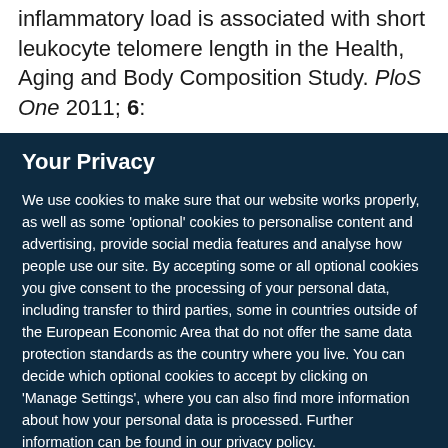inflammatory load is associated with short leukocyte telomere length in the Health, Aging and Body Composition Study. PloS One 2011; 6:
Your Privacy
We use cookies to make sure that our website works properly, as well as some 'optional' cookies to personalise content and advertising, provide social media features and analyse how people use our site. By accepting some or all optional cookies you give consent to the processing of your personal data, including transfer to third parties, some in countries outside of the European Economic Area that do not offer the same data protection standards as the country where you live. You can decide which optional cookies to accept by clicking on 'Manage Settings', where you can also find more information about how your personal data is processed. Further information can be found in our privacy policy.
Accept all cookies
Manage preferences